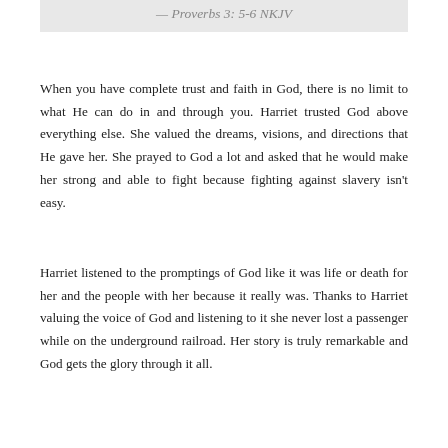— Proverbs 3: 5-6 NKJV
When you have complete trust and faith in God, there is no limit to what He can do in and through you. Harriet trusted God above everything else. She valued the dreams, visions, and directions that He gave her. She prayed to God a lot and asked that he would make her strong and able to fight because fighting against slavery isn't easy.
Harriet listened to the promptings of God like it was life or death for her and the people with her because it really was. Thanks to Harriet valuing the voice of God and listening to it she never lost a passenger while on the underground railroad. Her story is truly remarkable and God gets the glory through it all.